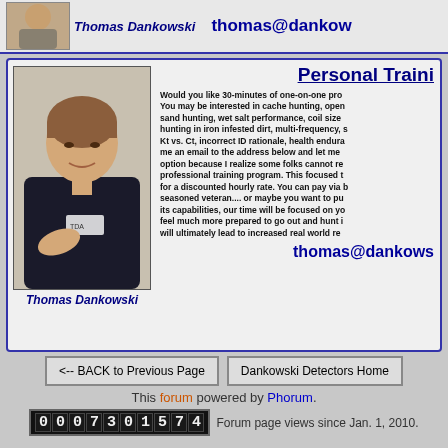[Figure (photo): Small photo of Thomas Dankowski at top strip]
Thomas Dankowski
thomas@danko...
Personal Traini...
[Figure (photo): Photo of Thomas Dankowski presenting/speaking]
Thomas Dankowski
Would you like 30-minutes of one-on-one pro... You may be interested in cache hunting, open... sand hunting, wet salt performance, coil size... hunting in iron infested dirt, multi-frequency, s... Kt vs. Ct, incorrect ID rationale, health endura... me an email to the address below and let me... option because I realize some folks cannot re... professional training program. This focused t... for a discounted hourly rate. You can pay via b... seasoned veteran.... or maybe you want to pu... its capabilities, our time will be focused on yo... feel much more prepared to go out and hunt i... will ultimately lead to increased real world re...
thomas@dankows...
<-- BACK to Previous Page
Dankowski Detectors Home
This forum powered by Phorum.
Forum page views since Jan. 1, 2010.
0007301574